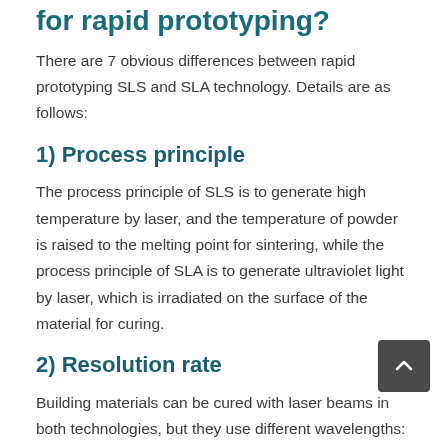for rapid prototyping?
There are 7 obvious differences between rapid prototyping SLS and SLA technology. Details are as follows:
1) Process principle
The process principle of SLS is to generate high temperature by laser, and the temperature of powder is raised to the melting point for sintering, while the process principle of SLA is to generate ultraviolet light by laser, which is irradiated on the surface of the material for curing.
2) Resolution rate
Building materials can be cured with laser beams in both technologies, but they use different wavelengths: